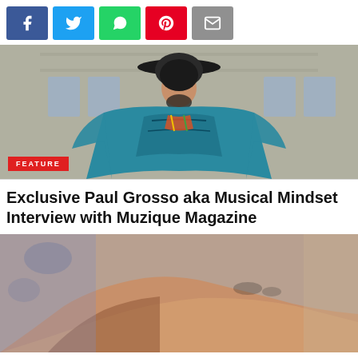[Figure (infographic): Five social media share buttons in a row: Facebook (blue), Twitter (light blue), WhatsApp (green), Pinterest (red), Email (grey)]
[Figure (photo): A person wearing a wide-brimmed hat and a large teal/blue poncho with dark pattern details, sitting in front of a building with windows. A red 'FEATURE' badge overlays the bottom-left of the image.]
Exclusive Paul Grosso aka Musical Mindset Interview with Muzique Magazine
[Figure (photo): Close-up photo of a person's arm/hand, skin tones visible, blurred background suggesting casual setting.]